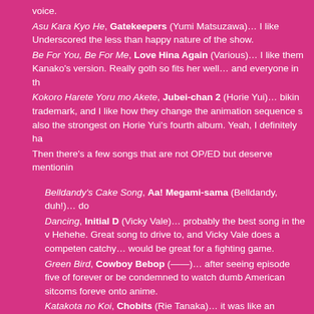voice.
Asu Kara Kyo He, Gatekeepers (Yumi Matsuzawa)… I like Underscored the less than happy nature of the show.
Be For You, Be For Me, Love Hina Again (Various)… I like them Kanako's version. Really goth so fits her well… and everyone in th
Kokoro Harete Yoru mo Akete, Jubei-chan 2 (Horie Yui)… bikin trademark, and I like how they change the animation sequence s also the strongest on Horie Yui's fourth album. Yeah, I definitely ha
Then there's a few songs that are not OP/ED but deserve mentionin
Belldandy's Cake Song, Aa! Megami-sama (Belldandy, duh!)… do
Dancing, Initial D (Vicky Vale)… probably the best song in the v Hehehe. Great song to drive to, and Vicky Vale does a competen catchy… would be great for a fighting game.
Green Bird, Cowboy Bebop (——)… after seeing episode five of forever or be condemned to watch dumb American sitcoms foreve onto anime.
Katakota no Koi, Chobits (Rie Tanaka)… it was like an anthem happen soon.
Rinbu Revolution La La La Mix, Utena (——)… I like this versi Revolution. Only used as the ED of the last episode sadly.
Notes:
Tried to keep it on an one song per anime basis. Jubei-